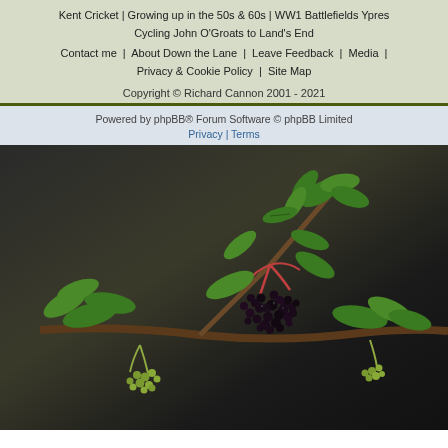Kent Cricket | Growing up in the 50s & 60s | WW1 Battlefields Ypres | Cycling John O'Groats to Land's End
Contact me  |  About Down the Lane  |  Leave Feedback  |  Media  |  Privacy & Cookie Policy  |  Site Map
Copyright © Richard Cannon 2001 - 2021
Powered by phpBB® Forum Software © phpBB Limited
Privacy | Terms
[Figure (photo): Close-up photograph of elderberry plant branches with clusters of dark ripe berries and green unripe berries, with large green leaves, against a dark background.]